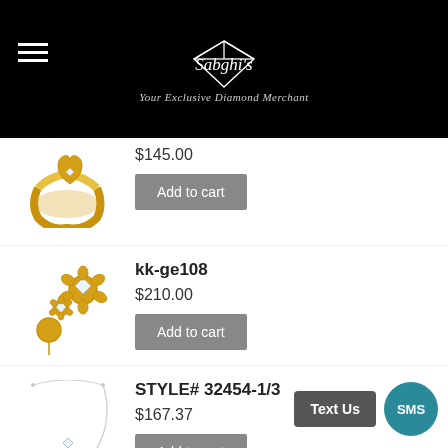Sabghi's — Your Exclusive Diamond Merchant
$145.00
Add to cart
kk-ge108
$210.00
Add to cart
STYLE# 32454-1/3
$167.37
Add to cart
Text Us
SMS